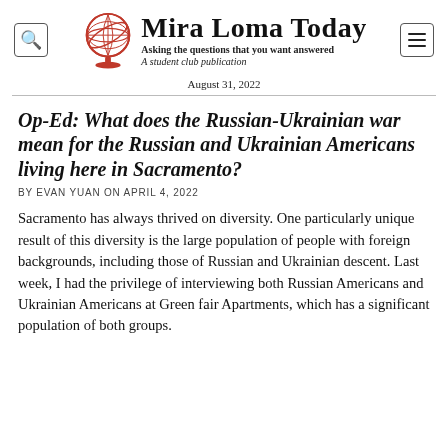Mira Loma Today — Asking the questions that you want answered — A student club publication
August 31, 2022
Op-Ed: What does the Russian-Ukrainian war mean for the Russian and Ukrainian Americans living here in Sacramento?
BY EVAN YUAN ON APRIL 4, 2022
Sacramento has always thrived on diversity. One particularly unique result of this diversity is the large population of people with foreign backgrounds, including those of Russian and Ukrainian descent. Last week, I had the privilege of interviewing both Russian Americans and Ukrainian Americans at Green fair Apartments, which has a significant population of both groups.